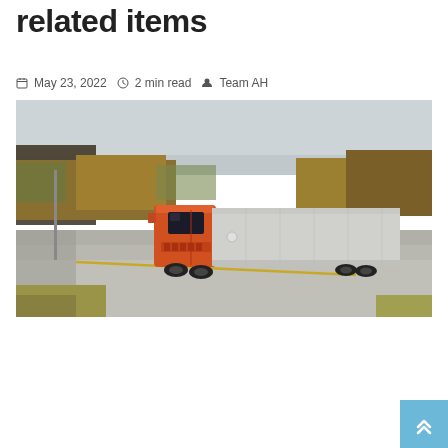related items
May 23, 2022   2 min read   Team AH
[Figure (photo): An orange semi-truck with a silver trailer driving on a highway, surrounded by autumn trees and overcast sky.]